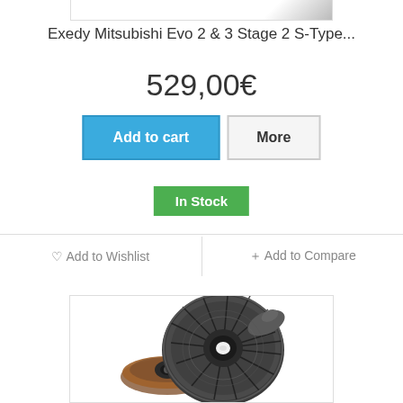[Figure (photo): Top portion of product image (white background with gray gradient corner, partially visible)]
Exedy Mitsubishi Evo 2 & 3 Stage 2 S-Type...
529,00€
Add to cart
More
In Stock
♡ Add to Wishlist
+ Add to Compare
[Figure (photo): Product photo showing Exedy clutch kit with clutch cover/pressure plate and clutch disc components on white background]